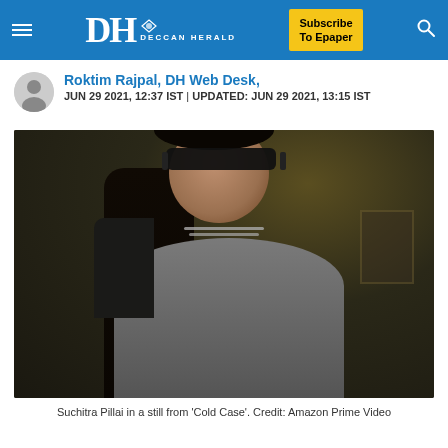DH DECCAN HERALD | Subscribe To Epaper
Roktim Rajpal, DH Web Desk,
JUN 29 2021, 12:37 IST | UPDATED: JUN 29 2021, 13:15 IST
[Figure (photo): Suchitra Pillai in a still from 'Cold Case', showing a person with long dark hair and sunglasses in a dimly lit indoor setting. Credit: Amazon Prime Video]
Suchitra Pillai in a still from 'Cold Case'. Credit: Amazon Prime Video